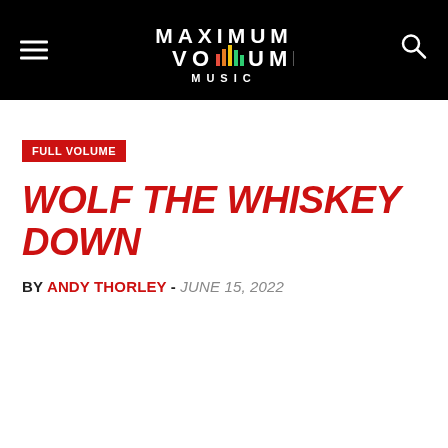MAXIMUM VOLUME MUSIC
FULL VOLUME
WOLF THE WHISKEY DOWN
BY ANDY THORLEY - JUNE 15, 2022